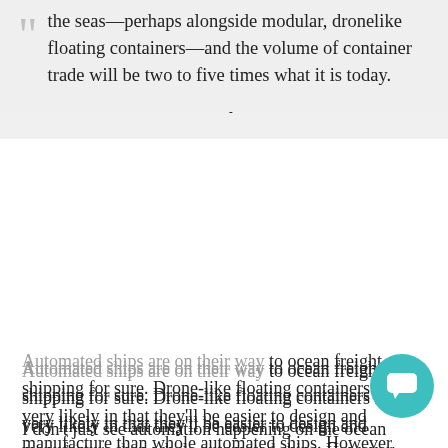the seas—perhaps alongside modular, dronelike floating containers—and the volume of container trade will be two to five times what it is today.
Automated ships are on their way to ocean freight shipping for sure. Drone-like floating containers seem very likely in that they'll be easier to design and manufacture than whole automated ships. However, they could also present more complications because of the sheer number of such "ocean drones" it would take to transport the amount of cargo moved by one container ship and perhaps more susceptible to loss.
I don't just see automation happening on the ocean